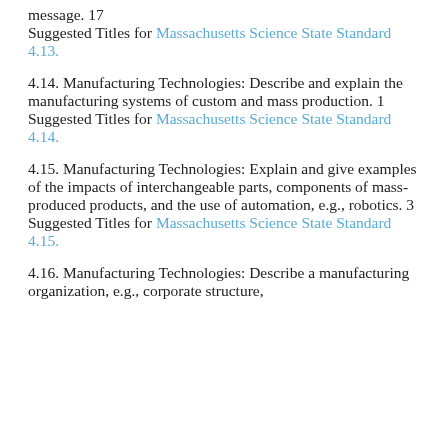message. 17
Suggested Titles for Massachusetts Science State Standard 4.13.
4.14. Manufacturing Technologies: Describe and explain the manufacturing systems of custom and mass production. 1
Suggested Titles for Massachusetts Science State Standard 4.14.
4.15. Manufacturing Technologies: Explain and give examples of the impacts of interchangeable parts, components of mass-produced products, and the use of automation, e.g., robotics. 3
Suggested Titles for Massachusetts Science State Standard 4.15.
4.16. Manufacturing Technologies: Describe a manufacturing organization, e.g., corporate structure, ...